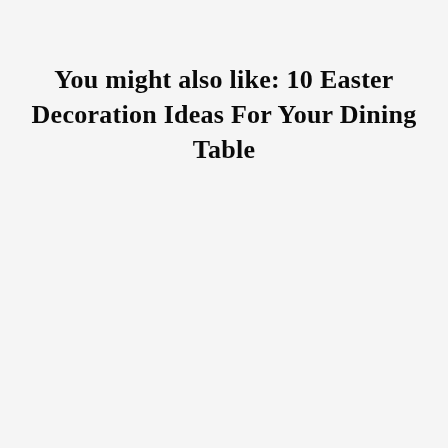You might also like: 10 Easter Decoration Ideas For Your Dining Table